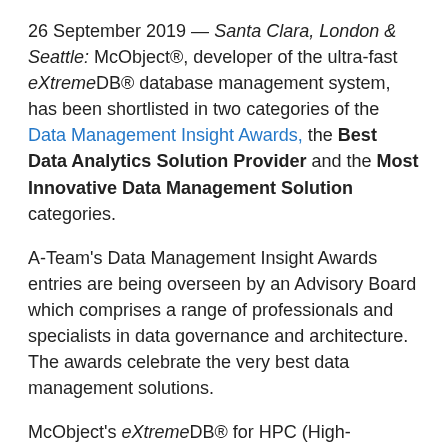26 September 2019 — Santa Clara, London & Seattle: McObject®, developer of the ultra-fast eXtremeDB® database management system, has been shortlisted in two categories of the Data Management Insight Awards, the Best Data Analytics Solution Provider and the Most Innovative Data Management Solution categories.
A-Team's Data Management Insight Awards entries are being overseen by an Advisory Board which comprises a range of professionals and specialists in data governance and architecture. The awards celebrate the very best data management solutions.
McObject's eXtremeDB® for HPC (High-Performance Computing) for cloud, analytics and financial systems is the ultra-fast data management technology being honored. It is exceptionally reliable and robust, and